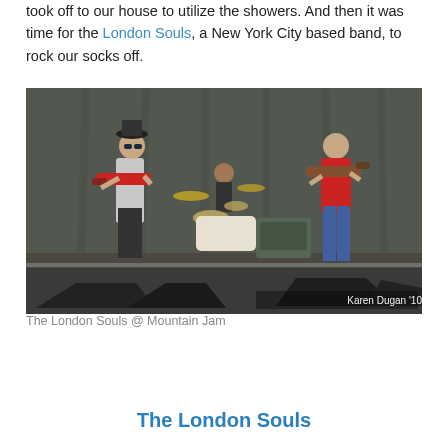took off to our house to utilize the showers.  And then it was time for the London Souls, a New York City based band, to rock our socks off.
[Figure (photo): The London Souls performing on stage at Mountain Jam. Three band members visible: guitarist on the left in hat and sunglasses playing a red electric guitar, drummer in the center background, and bassist on the right in a red t-shirt. Stage monitors in the foreground, dark curtain backdrop. Photo credit: Karen Dugan '10]
The London Souls @ Mountain Jam
The London Souls